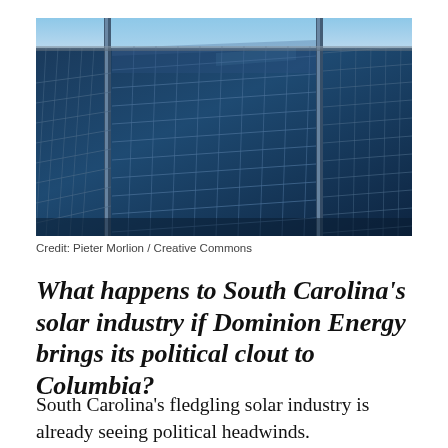[Figure (photo): Close-up photograph of blue solar panels with a light blue sky visible in the upper portion, taken from a low angle showing the grid pattern of photovoltaic cells]
Credit: Pieter Morlion / Creative Commons
What happens to South Carolina's solar industry if Dominion Energy brings its political clout to Columbia?
South Carolina's fledgling solar industry is already seeing political headwinds.